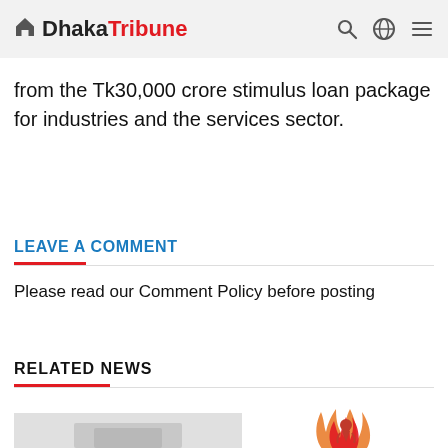Dhaka Tribune
from the Tk30,000 crore stimulus loan package for industries and the services sector.
LEAVE A COMMENT
Please read our Comment Policy before posting
RELATED NEWS
[Figure (photo): Related news thumbnail image placeholder (gray box with partial image visible at bottom)]
[Figure (logo): Red and orange circular logo with figure/emblem in center]